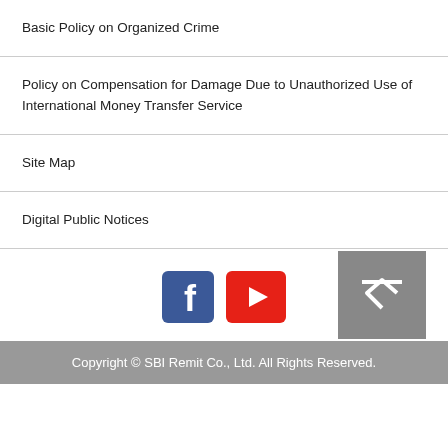Basic Policy on Organized Crime
Policy on Compensation for Damage Due to Unauthorized Use of International Money Transfer Service
Site Map
Digital Public Notices
[Figure (other): Social media icons: Facebook and YouTube, with a back-to-top button]
Copyright © SBI Remit Co., Ltd. All Rights Reserved.